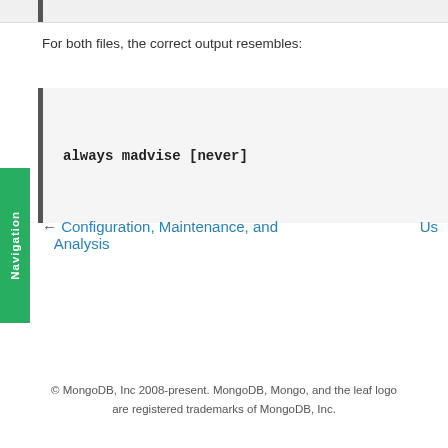For both files, the correct output resembles:
[Figure (screenshot): Code block showing: always madvise [never]]
← Configuration, Maintenance, and Analysis
Us
© MongoDB, Inc 2008-present. MongoDB, Mongo, and the leaf logo are registered trademarks of MongoDB, Inc.